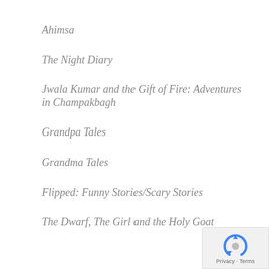Ahimsa
The Night Diary
Jwala Kumar and the Gift of Fire: Adventures in Champakbagh
Grandpa Tales
Grandma Tales
Flipped: Funny Stories/Scary Stories
The Dwarf, The Girl and the Holy Goat
[Figure (logo): reCAPTCHA privacy badge with blue recycling-arrow icon and Privacy - Terms text]